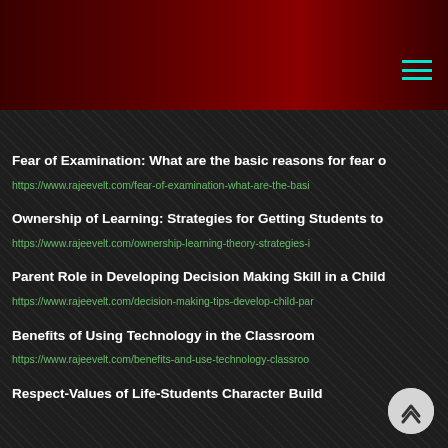rajeevelt.com website header with hamburger menu
https://www.rajeevelt.com/notebook-correction-importance-tips-a
Fear of Examination: What are the basic reasons for fear o
https://www.rajeevelt.com/fear-of-examination-what-are-the-basi
Ownership of Learning: Strategies for Getting Students to
https://www.rajeevelt.com/ownership-learning-theory-strategies-i
Parent Role in Developing Decision Making Skill in a Child
https://www.rajeevelt.com/decision-making-tips-develop-child-par
Benefits of Using Technology in the Classroom
https://www.rajeevelt.com/benefits-and-use-technology-classroo
Respect-Values of Life-Students Character Build